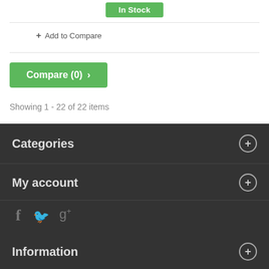[Figure (other): Green 'In Stock' button]
+ Add to Compare
[Figure (other): Green 'Compare (0) >' button]
Showing 1 - 22 of 22 items
Categories
My account
[Figure (other): Social media icons: Facebook, Twitter, Google+]
Information